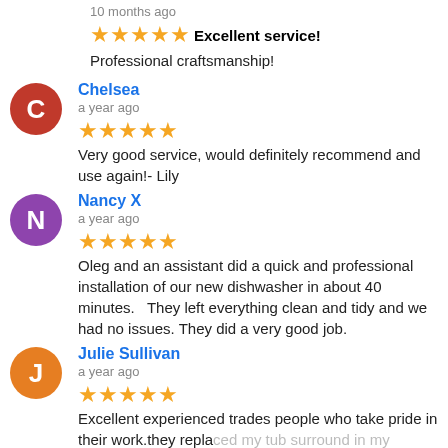10 months ago
★★★★★ Excellent service!
Professional craftsmanship!
Chelsea
a year ago
★★★★★ Very good service, would definitely recommend and use again!- Lily
Nancy X
a year ago
★★★★★ Oleg and an assistant did a quick and professional installation of our new dishwasher in about 40 minutes. They left everything clean and tidy and we had no issues. They did a very good job.
Julie Sullivan
a year ago
★★★★★ Excellent experienced trades people who take pride in their work.they replaced my tub surround in my bathroom and added new faucets. The quality was top notch. I would highly